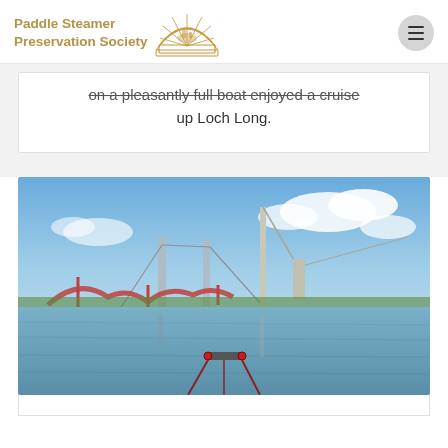Paddle Steamer Preservation Society
on a pleasantly full boat enjoyed a cruise up Loch Long.
[Figure (photo): Photograph taken from the bow of a vessel looking toward a large bridge (appears to be the Forth Road Bridge or similar suspension/cantilever bridge) with construction cranes visible, blue sky with white clouds, calm water in foreground with mooring equipment visible.]